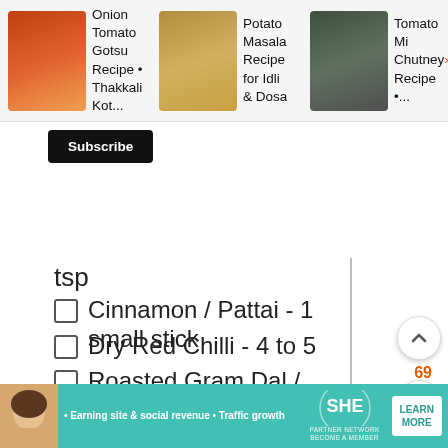[Figure (screenshot): Website header with recipe recommendation carousel showing three recipe cards: 'Onion Tomato Gotsu Recipe • Thakkali Kot...', 'Potato Masala Recipe for Idli & Dosa', and 'Tomato Mi Chutney Recipe •...' with thumbnail images]
Subscribe
tsp
Cinnamon / Pattai - 1 small stick
Dry Red Chilli - 4 to 5
Roasted Gram Dal / Pottu Kadalai - tblsp
Coconut - 3 tblsp
[Figure (photo): Advertisement showing sandwich image with Buddig logo and text 'SANDWICH LUNCH INTO YOUR DAY.']
[Figure (infographic): SHE Partner Network advertisement banner with text 'Earning site & social revenue', 'Traffic growth', SHE logo, and 'LEARN MORE' button]